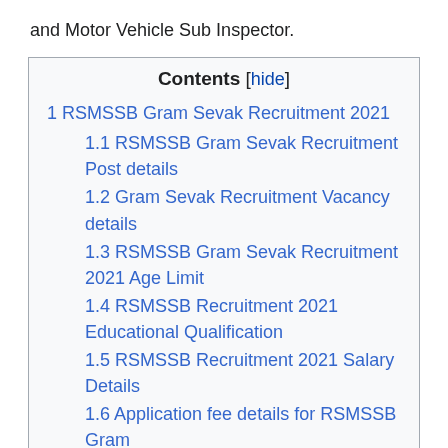and Motor Vehicle Sub Inspector.
Contents [hide]
1 RSMSSB Gram Sevak Recruitment 2021
1.1 RSMSSB Gram Sevak Recruitment Post details
1.2 Gram Sevak Recruitment Vacancy details
1.3 RSMSSB Gram Sevak Recruitment 2021 Age Limit
1.4 RSMSSB Recruitment 2021 Educational Qualification
1.5 RSMSSB Recruitment 2021 Salary Details
1.6 Application fee details for RSMSSB Gram